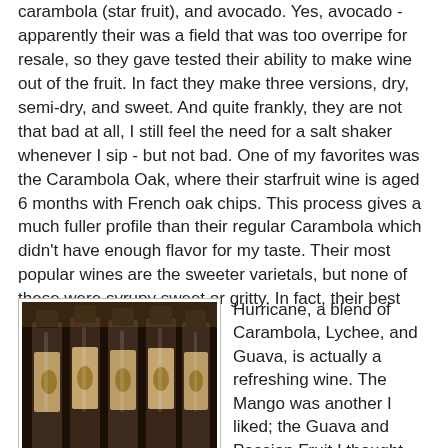carambola (star fruit), and avocado. Yes, avocado - apparently their was a field that was too overripe for resale, so they gave tested their ability to make wine out of the fruit. In fact they make three versions, dry, semi-dry, and sweet. And quite frankly, they are not that bad at all, I still feel the need for a salt shaker whenever I sip - but not bad. One of my favorites was the Carambola Oak, where their starfruit wine is aged 6 months with French oak chips. This process gives a much fuller profile than their regular Carambola which didn't have enough flavor for my taste. Their most popular wines are the sweeter varietals, but none of these were syrupy sweet or gritty. In fact, their best seller, the Cat 3 Hurricane, a blend of Carambola, Lychee, and Guava, is actually a refreshing wine. The Mango was another I liked; the Guava and Passion Fruit I thought different, but not disagreeable; but interestingly the Lychee is their most awarded wine; but I didn't care much for it. Shows that everyone has different tastes and opinions - so don't trust
[Figure (photo): Photo of several wine bottles with decorative labels featuring a tropical/nature scene, arranged in a row]